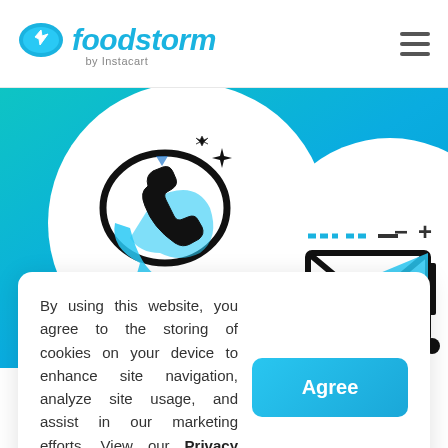[Figure (logo): Foodstorm by Instacart logo with cloud/lightning bolt icon in teal and text 'foodstorm' in teal italic font, subtitle 'by Instacart']
[Figure (illustration): Teal/blue gradient banner background with two circular white icon panels: left panel shows a phone/WhatsApp-style chat icon with sparkles and teal accents; right panel shows an envelope/email icon with teal accents and plus/minus symbols]
By using this website, you agree to the storing of cookies on your device to enhance site navigation, analyze site usage, and assist in our marketing efforts. View our Privacy Policy for more information.